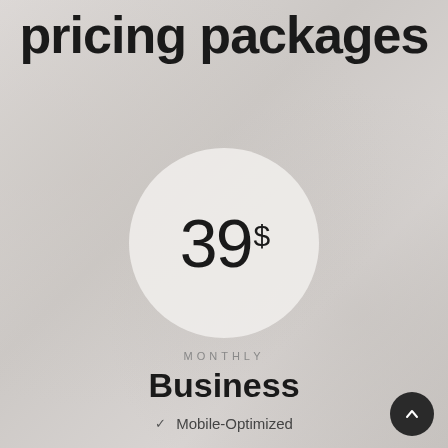pricing packages
39$
MONTHLY
Business
Mobile-Optimized
Free Custom Domain
Best Hosting
Outstanding Support